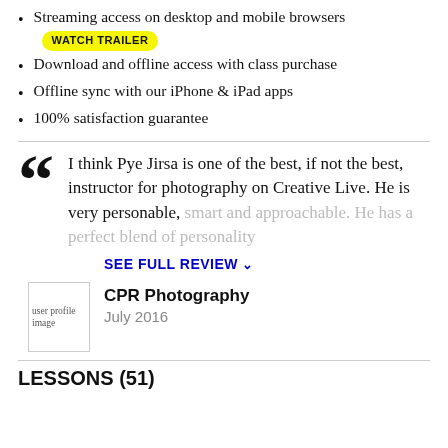Streaming access on desktop and mobile browsers
Download and offline access with class purchase
Offline sync with our iPhone & iPad apps
100% satisfaction guarantee
I think Pye Jirsa is one of the best, if not the best, instructor for photography on Creative Live. He is very personable, smart and approachable. He has a perfect blend of personality
SEE FULL REVIEW
[Figure (photo): User profile image placeholder]
CPR Photography
July 2016
LESSONS (51)